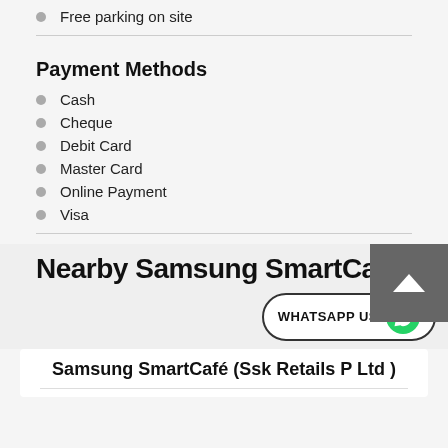Free parking on site
Payment Methods
Cash
Cheque
Debit Card
Master Card
Online Payment
Visa
Nearby Samsung SmartCafé
WHATSAPP US
Samsung SmartCafé (Ssk Retails P Ltd )